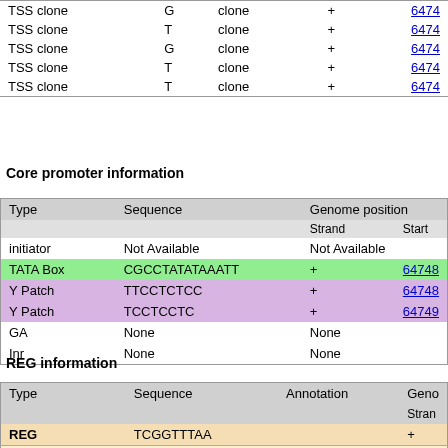| Type |  | Sequence |  | Strand | Start |
| --- | --- | --- | --- | --- | --- |
| TSS clone | G | clone | + | 6474... |
| TSS clone | T | clone | + | 6474... |
| TSS clone | G | clone | + | 6474... |
| TSS clone | T | clone | + | 6474... |
| TSS clone | T | clone | + | 6474... |
Core promoter information
| Type | Sequence | Genome position |  |
| --- | --- | --- | --- |
|  |  | Strand | Start |
| initiator | Not Available | Not Available |  |
| TATA Box | CGCCTATATAAATT | + | 64748... |
| Y Patch | TTCCTCTCC | + | 64748... |
| Y Patch | TCCTCCTC | + | 64749... |
| GA | None | None |  |
| Inr | None | None |  |
REG information
| Type | Sequence | Annotation | Geno... |
| --- | --- | --- | --- |
|  |  |  | Stran... |
| REG | TCGGTTTAA |  | + |
| AtREG514 | TCGGTTTA |  | PPD... Moti... |
| AtREG473 | CGGTTTAA |  | PPD... Moti... |